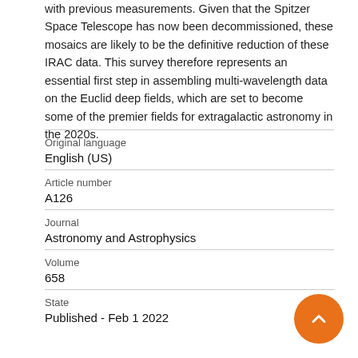with previous measurements. Given that the Spitzer Space Telescope has now been decommissioned, these mosaics are likely to be the definitive reduction of these IRAC data. This survey therefore represents an essential first step in assembling multi-wavelength data on the Euclid deep fields, which are set to become some of the premier fields for extragalactic astronomy in the 2020s.
| Field | Value |
| --- | --- |
| Original language | English (US) |
| Article number | A126 |
| Journal | Astronomy and Astrophysics |
| Volume | 658 |
| State | Published - Feb 1 2022 |